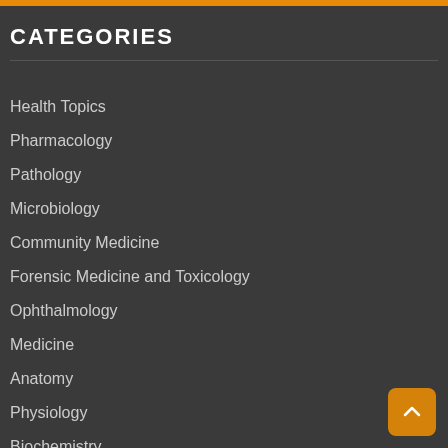CATEGORIES
Health Topics
Pharmacology
Pathology
Microbiology
Community Medicine
Forensic Medicine and Toxicology
Ophthalmology
Medicine
Anatomy
Physiology
Biochemistry
Health Guide